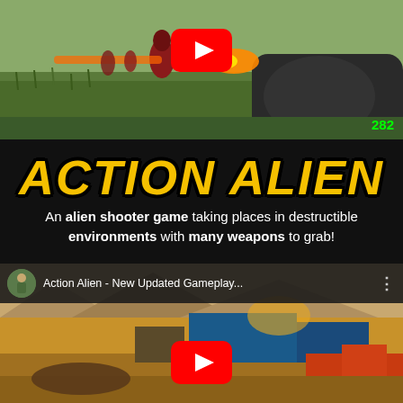[Figure (screenshot): First-person shooter gameplay screenshot showing a minigun being fired at alien creatures in a green grassy field. YouTube play button overlay visible. View count '282' in green.]
ACTION ALIEN
An alien shooter game taking places in destructible environments with many weapons to grab!
[Figure (screenshot): YouTube video embed for 'Action Alien - New Updated Gameplay...' showing a desert combat scene with the channel icon, video title, and YouTube play button overlay.]